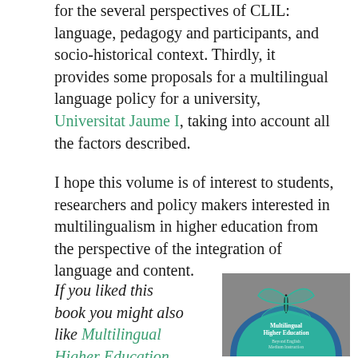for the several perspectives of CLIL: language, pedagogy and participants, and socio-historical context. Thirdly, it provides some proposals for a multilingual language policy for a university, Universitat Jaume I, taking into account all the factors described.
I hope this volume is of interest to students, researchers and policy makers interested in multilingualism in higher education from the perspective of the integration of language and content.
If you liked this book you might also like Multilingual Higher Education by Christa van der Walt.
[Figure (photo): Book cover of Multilingual Higher Education by Christa van der Walt, showing a butterfly on a grey textured background with a teal/blue arch, with the title text visible.]